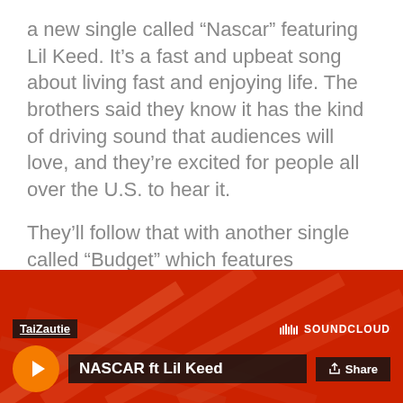a new single called “Nascar” featuring Lil Keed. It’s a fast and upbeat song about living fast and enjoying life. The brothers said they know it has the kind of driving sound that audiences will love, and they’re excited for people all over the U.S. to hear it.
They’ll follow that with another single called “Budget” which features MakSauce. It, too, is upbeat and driving as it reflects on the trouble people can often find themselves in when they are spontaneous with their spending and don’t plan ahead with their money.
[Figure (screenshot): SoundCloud widget showing a track by TaiZautie titled 'NASCAR ft Lil Keed' with a red/orange background, play button, artist name, track name, SoundCloud logo, and Share button.]